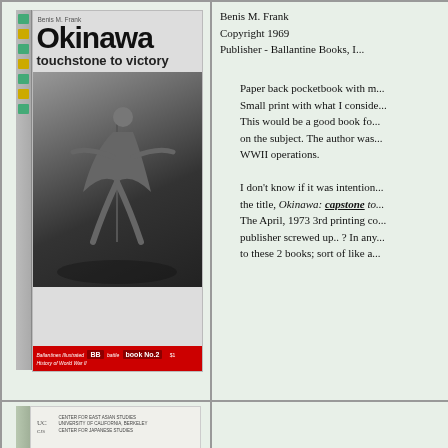[Figure (photo): Book cover of 'Okinawa: touchstone to victory' by Benis M. Frank, Ballantine Books. Black and white cover showing soldier in combat. Red banner at bottom reading Ballantine's Illustrated BB battle book No.2 $1.]
Benis M. Frank
Copyright 1969
Publisher - Ballantine Books, I...

Paper back pocketbook with m...
Small print with what I conside...
This would be a good book fo...
on the subject. The author was...
WWII operations.

I don't know if it was intention...
the title, Okinawa: capstone to...
The April, 1973 3rd printing co...
publisher screwed up.. ? In any...
to these 2 books; sort of like a...
[Figure (photo): Book cover of 'Okinawa: Two Postwar Novellas' by Oshiro Tatsuhiro and Higashi Mineo, translated by Steve Rabson. White cover with institutional logos and honeycomb pattern at bottom.]
Okinawa: Two Postwar Nove...
Oshiro Tatsuhiro and Higashi M...
Translated with an intro and aft...
Copyright 1989
Japan Research Monograph - I...